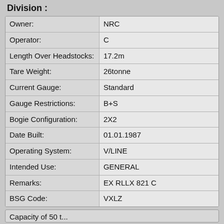Division :
| Field | Value |
| --- | --- |
| Owner: | NRC |
| Operator: | C |
| Length Over Headstocks: | 17.2m |
| Tare Weight: | 26tonne |
| Current Gauge: | Standard |
| Gauge Restrictions: | B+S |
| Bogie Configuration: | 2X2 |
| Date Built: | 01.01.1987 |
| Operating System: | V/LINE |
| Intended Use: | GENERAL |
| Remarks: | EX RLLX 821 C |
| BSG Code: | VXLZ |
Capacity of 50 t...